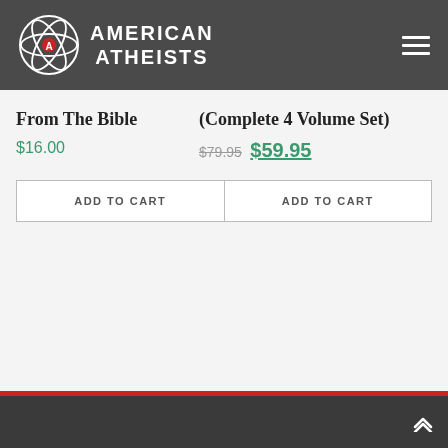[Figure (logo): American Atheists logo with atom/A icon and text in dark grey header bar with hamburger menu]
From The Bible
$16.00
(Complete 4 Volume Set)
$79.95 $59.95
ADD TO CART
ADD TO CART